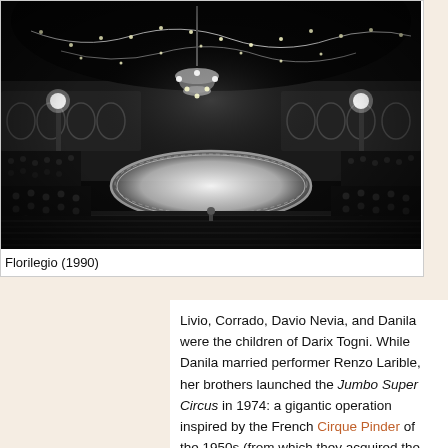[Figure (photo): Black and white photograph of a large circus interior (Florilegio, 1990) showing a circular illuminated ring in the center, a grand chandelier above, string lights along the ceiling, packed audience seating on all sides, and ornate architecture with arched galleries.]
Florilegio (1990)
Livio, Corrado, Davio Nevia, and Danila were the children of Darix Togni. While Danila married performer Renzo Larible, her brothers launched the Jumbo Super Circus in 1974: a gigantic operation inspired by the French Cirque Pinder of the 1950s (from which they acquired the fabled street parade vehicles). In 1978,